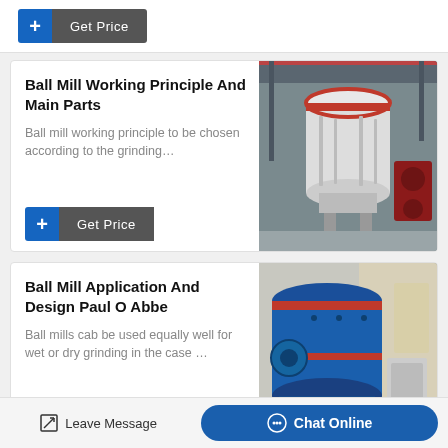[Figure (other): Get Price button with blue plus icon and dark gray label]
Ball Mill Working Principle And Main Parts
Ball mill working principle to be chosen according to the grinding…
[Figure (photo): Photo of large white industrial ball mill machinery in a factory setting]
[Figure (other): Get Price button with blue plus icon and dark gray label]
Ball Mill Application And Design Paul O Abbe
Ball mills cab be used equally well for wet or dry grinding in the case …
[Figure (photo): Photo of large blue industrial ball mill machinery in a factory setting]
Leave Message
Chat Online